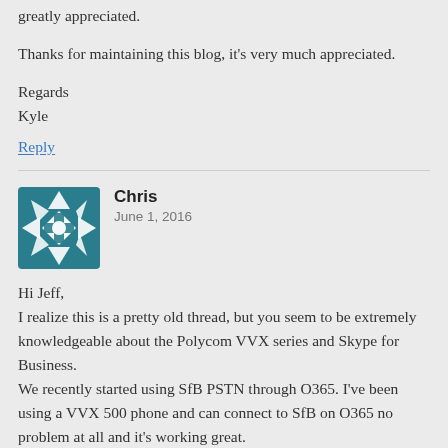greatly appreciated.
Thanks for maintaining this blog, it's very much appreciated.
Regards
Kyle
Reply
Chris
June 1, 2016
Hi Jeff,
I realize this is a pretty old thread, but you seem to be extremely knowledgeable about the Polycom VVX series and Skype for Business.
We recently started using SfB PSTN through O365. I've been using a VVX 500 phone and can connect to SfB on O365 no problem at all and it's working great.
I updated the phone software to 5.4.4.2473 directly from the Polycom server. The upgrade goes through